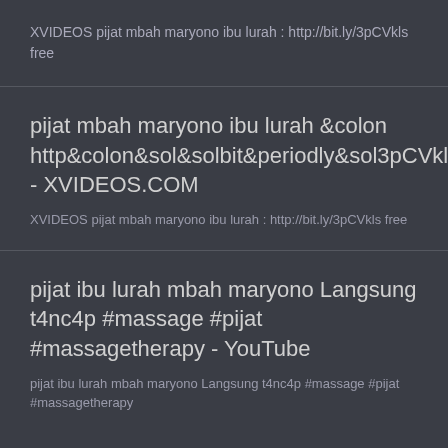XVIDEOS pijat mbah maryono ibu lurah : http://bit.ly/3pCVkls free
pijat mbah maryono ibu lurah &colon http&colon&sol&solbit&periodly&sol3pCVkls - XVIDEOS.COM
XVIDEOS pijat mbah maryono ibu lurah : http://bit.ly/3pCVkls free
pijat ibu lurah mbah maryono Langsung t4nc4p #massage #pijat #massagetherapy - YouTube
pijat ibu lurah mbah maryono Langsung t4nc4p #massage #pijat #massagetherapy